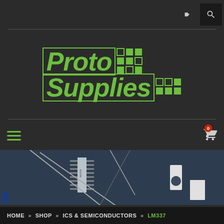[Figure (screenshot): ProtoSupplies e-commerce website header with logo, navigation, hero image of electronic components (ICs and semiconductors), and breadcrumb navigation showing HOME > SHOP > ICS & SEMICONDUCTORS > LM337]
ProtoSupplies
HOME » SHOP » ICS & SEMICONDUCTORS » LM337